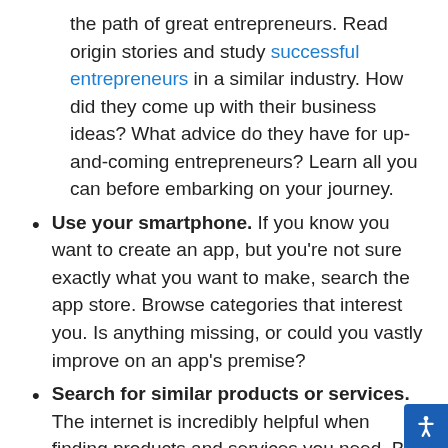the path of great entrepreneurs. Read origin stories and study successful entrepreneurs in a similar industry. How did they come up with their business ideas? What advice do they have for up-and-coming entrepreneurs? Learn all you can before embarking on your journey.
Use your smartphone. If you know you want to create an app, but you're not sure exactly what you want to make, search the app store. Browse categories that interest you. Is anything missing, or could you vastly improve on an app's premise?
Search for similar products or services. The internet is incredibly helpful when finding products and services you need. But have you ever searched for something and been unable to find it? That should be a tip-off of a potential marketing opening you could fill.